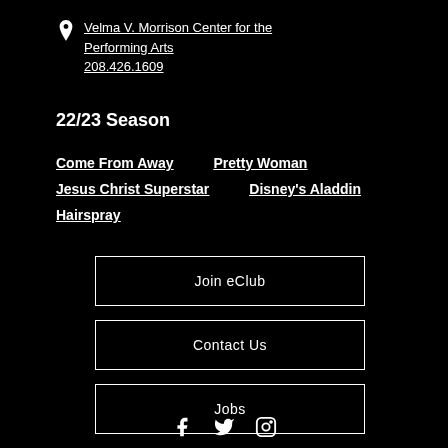Velma V. Morrison Center for the Performing Arts
208.426.1609
22/23 Season
Come From Away
Pretty Woman
Jesus Christ Superstar
Disney's Aladdin
Hairspray
Join eClub
Contact Us
Jobs